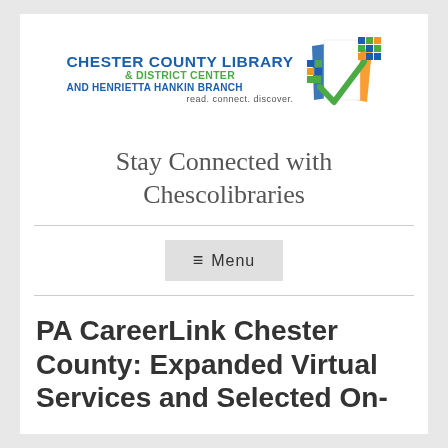[Figure (logo): Chester County Library & District Center and Henrietta Hankin Branch logo with colorful book/page icon and tagline 'read. connect. discover.']
Stay Connected with Chescolibraries
☰  Menu
PA CareerLink Chester County: Expanded Virtual Services and Selected On-